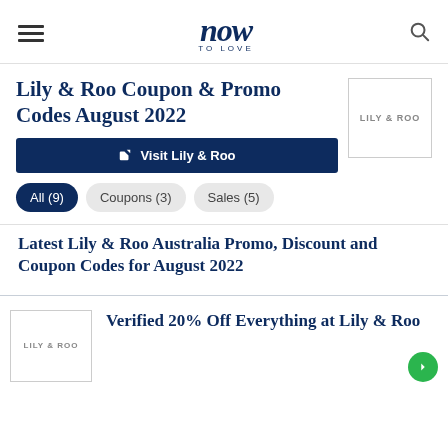now TO LOVE
Lily & Roo Coupon & Promo Codes August 2022
Visit Lily & Roo
[Figure (logo): LILY & ROO brand logo box]
All (9)
Coupons (3)
Sales (5)
Latest Lily & Roo Australia Promo, Discount and Coupon Codes for August 2022
[Figure (logo): LILY & ROO brand logo box]
Verified 20% Off Everything at Lily & Roo